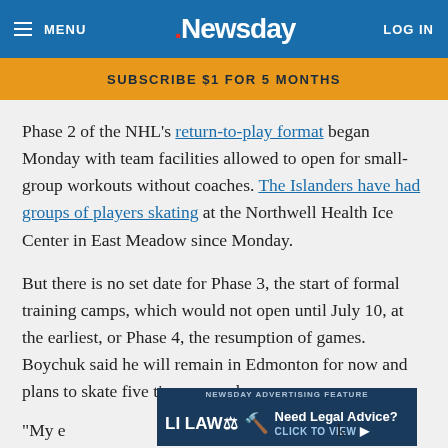≡ MENU  .Newsday  LOG IN
SUBSCRIBE $1 FOR 5 MONTHS
Phase 2 of the NHL's return-to-play format began Monday with team facilities allowed to open for small-group workouts without coaches. The Islanders have had groups of players skating at the Northwell Health Ice Center in East Meadow since Monday.
But there is no set date for Phase 3, the start of formal training camps, which would not open until July 10, at the earliest, or Phase 4, the resumption of games. Boychuk said he will remain in Edmonton for now and plans to skate five times a week.
[Figure (screenshot): Newsday advertising feature banner for LI LAW — Need Legal Advice? Click to view.]
"My e... k